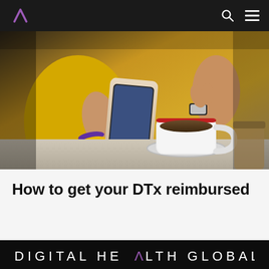Digital Health Global navigation bar
[Figure (photo): A person in a yellow outfit holding a smartphone, with a coffee cup and saucer on a table in the foreground.]
How to get your DTx reimbursed
DIGITAL HEALTH GLOBAL